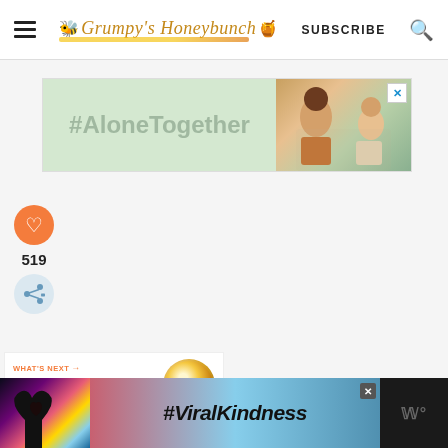[Figure (logo): Grumpy's Honeybunch website logo with bee icon and honey jar, script font, golden underline]
SUBSCRIBE
[Figure (other): #AloneTogether advertisement banner with green background and photo of adult and child waving at laptop]
[Figure (other): Orange heart/like button with count 519 and share button]
519
[Figure (other): What's Next promo: Sour Cream Drop Cookies with cookie image]
WHAT'S NEXT → Sour Cream Drop Cookies
[Figure (other): #ViralKindness advertisement banner with heart hands silhouette on sunset background]